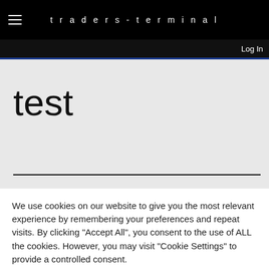traders-terminal
Log In
test
We use cookies on our website to give you the most relevant experience by remembering your preferences and repeat visits. By clicking "Accept All", you consent to the use of ALL the cookies. However, you may visit "Cookie Settings" to provide a controlled consent.
Cookie Settings
Accept All